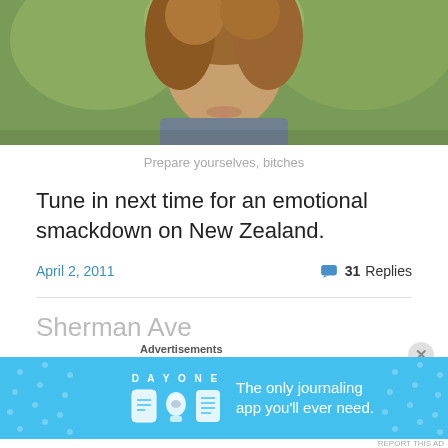[Figure (photo): Partial photo of a young person with curly hair, cropped showing face/hair from nose up, outdoor background with greenery]
Prepare yourselves, bitches
Tune in next time for an emotional smackdown on New Zealand.
April 2, 2011  31 Replies
Sherman Ave
[Figure (screenshot): Advertisement banner for Day One journaling app with blue background, icons, and text 'The only journaling app you'll ever need.']